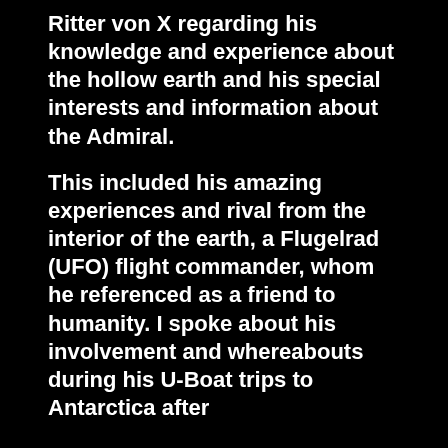Ritter von X regarding his knowledge and experience about the hollow earth and his special interests and information about the Admiral.
This included his amazing experiences and rival from the interior of the earth, a Flugelrad (UFO) flight commander, whom he referenced as a friend to humanity. I spoke about his involvement and whereabouts during his U-Boat trips to Antarctica after